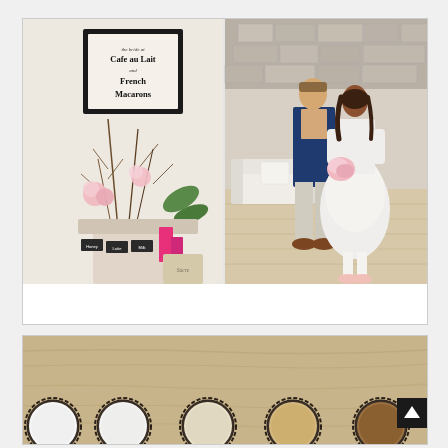[Figure (photo): Two-panel wedding photo collage. Left panel: styled table with a framed sign reading 'Cafe au Lait and French Macarons', floral arrangement with pink flowers and dark branches, small chalkboard labels. Right panel: couple standing together, man in navy blazer and khaki pants, woman in white tulle skirt holding pink bouquet, in a light-wood-floored studio with stone wall backdrop. Laura Kelly Photography watermark in teal cursive at bottom right.]
[Figure (photo): Overhead/flat-lay photo of five dark scalloped-edge tart tins arranged in a row on a light wood grain surface, each containing a different type of sugar or salt ranging from white fine sugar on the left to darker brown sugar on the right.]